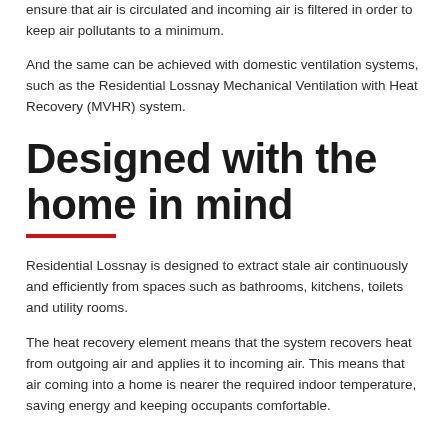ensure that air is circulated and incoming air is filtered in order to keep air pollutants to a minimum.
And the same can be achieved with domestic ventilation systems, such as the Residential Lossnay Mechanical Ventilation with Heat Recovery (MVHR) system.
Designed with the home in mind
Residential Lossnay is designed to extract stale air continuously and efficiently from spaces such as bathrooms, kitchens, toilets and utility rooms.
The heat recovery element means that the system recovers heat from outgoing air and applies it to incoming air. This means that air coming into a home is nearer the required indoor temperature, saving energy and keeping occupants comfortable.